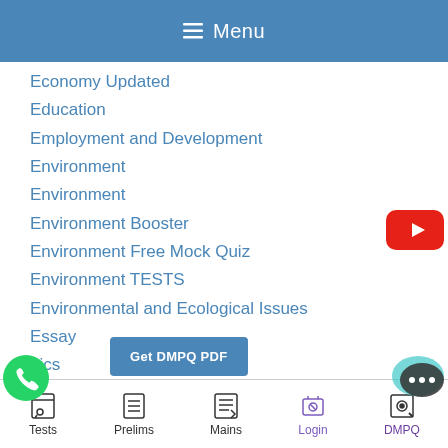Menu
Economy Updated
Education
Employment and Development
Environment
Environment
Environment Booster
Environment Free Mock Quiz
Environment TESTS
Environmental and Ecological Issues
Essay
nics
[Figure (logo): YouTube play button icon (red rectangle with white triangle)]
[Figure (other): Get DMPQ PDF button overlay]
[Figure (logo): WhatsApp green phone icon]
[Figure (logo): Chat bubble / messaging icon]
Tests   Prelims   Mains   Login   DMPQ